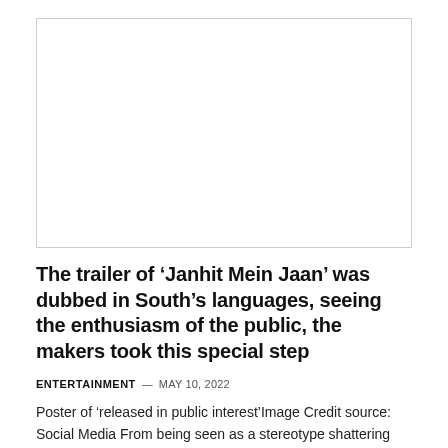[Figure (photo): Blank white image placeholder area with light border]
The trailer of ‘Janhit Mein Jaan’ was dubbed in South’s languages, seeing the enthusiasm of the public, the makers took this special step
ENTERTAINMENT — MAY 10, 2022
Poster of ‘released in public interest’Image Credit source: Social Media From being seen as a stereotype shattering trailer by netizens…